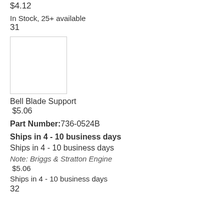$4.12
In Stock, 25+ available
31
[Figure (photo): Product image placeholder — white box with border]
Bell Blade Support
$5.06
Part Number:736-0524B
Ships in 4 - 10 business days
Ships in 4 - 10 business days
Note: Briggs & Stratton Engine
$5.06
Ships in 4 - 10 business days
32